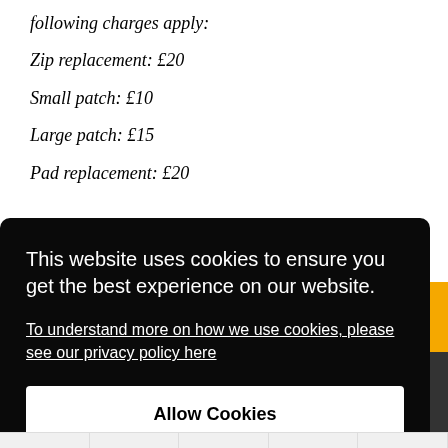following charges apply:
Zip replacement: £20
Small patch: £10
Large patch: £15
Pad replacement: £20
This website uses cookies to ensure you get the best experience on our website.
To understand more on how we use cookies, please see our privacy policy here
Allow Cookies